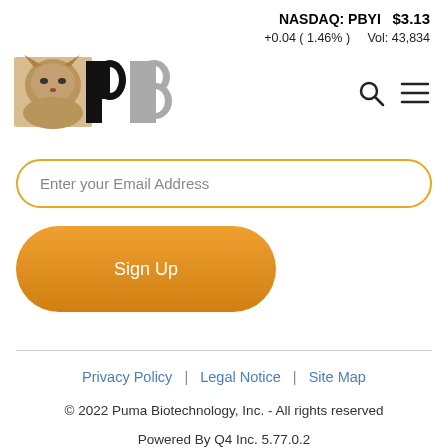NASDAQ: PBYI  $3.13
+0.04 ( 1.46% )   Vol: 43,834
[Figure (logo): Puma Biotechnology logo with puma image and stylized PB letters]
Enter your Email Address
Sign Up
Privacy Policy  |  Legal Notice  |  Site Map
© 2022 Puma Biotechnology, Inc. - All rights reserved
Powered By Q4 Inc. 5.77.0.2